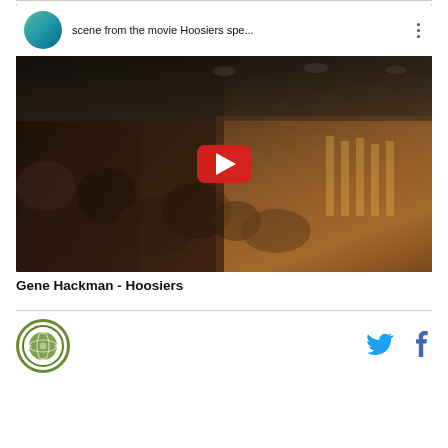[Figure (screenshot): YouTube video embed showing a scene from the movie Hoosiers. Title bar shows 'scene from the movie Hoosiers spe...' with a circular waterfall thumbnail. Video frame shows a basketball gym scene with crowd and players on a wooden court. A red YouTube play button is centered on the video.]
Gene Hackman - Hoosiers
[Figure (logo): Circular green logo with a sports/basketball theme]
[Figure (other): Twitter bird icon (blue)]
[Figure (other): Facebook 'f' icon (blue)]